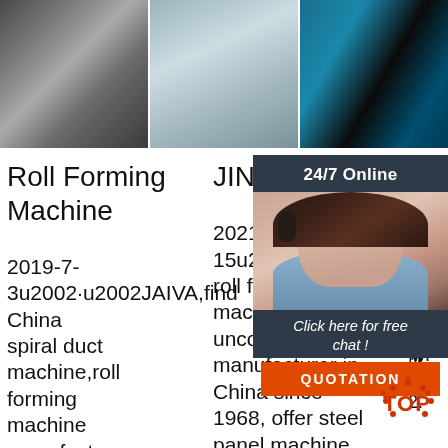[Figure (photo): Three factory/manufacturing photos showing metal roll forming machine components and equipment]
Roll Forming Machine
2019-7-3u2002·u2002JAIVA,find China spiral duct machine,roll forming machine manufacturers here,high quality roll forming
JINGGONG
2021-9-15u2002·u2002Jing roll forming machine and uncoiler manufacturer in China since 1968, offer steel panel machine for forming construction materials of PU
S... F... M... In... .. 2... 2... Metal Forming 2.810 D... Cooper l'Sheet Metal Forming' Ch. 16
[Figure (photo): Chat support overlay with agent photo, 24/7 Online header, Click here for free chat button, and QUOTATION button]